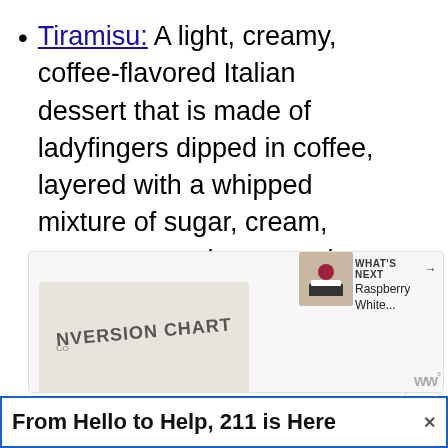Tiramisu: A light, creamy, coffee-flavored Italian dessert that is made of ladyfingers dipped in coffee, layered with a whipped mixture of sugar, cream, mascarpone cheese and garnished with beautiful chocolate curls and sprigs of mint.
[Figure (screenshot): Bottom section of a webpage showing a partial image of a conversion chart, a 'What's Next' panel for 'Raspberry White...' with a thumbnail image, social sharing buttons (heart with 810, share), and an advertisement banner reading 'From Hello to Help, 211 is Here' with a close button and Wix logo.]